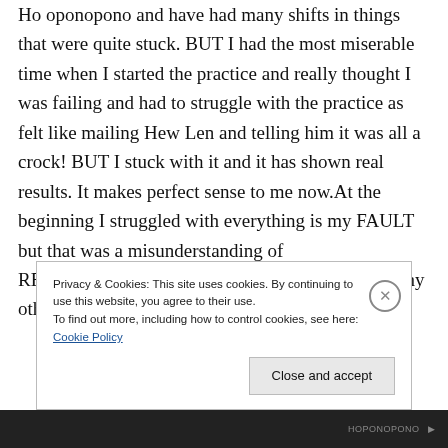Ho oponopono and have had many shifts in things that were quite stuck. BUT I had the most miserable time when I started the practice and really thought I was failing and had to struggle with the practice as felt like mailing Hew Len and telling him it was all a crock! BUT I stuck with it and it has shown real results. It makes perfect sense to me now.At the beginning I struggled with everything is my FAULT but that was a misunderstanding of RESPONSIBILITY. i hope your article reaches many other people as you
Privacy & Cookies: This site uses cookies. By continuing to use this website, you agree to their use.
To find out more, including how to control cookies, see here: Cookie Policy